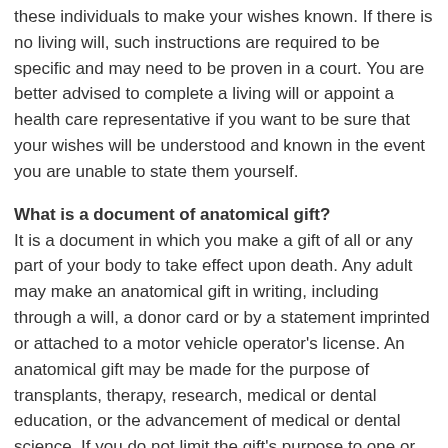these individuals to make your wishes known. If there is no living will, such instructions are required to be specific and may need to be proven in a court. You are better advised to complete a living will or appoint a health care representative if you want to be sure that your wishes will be understood and known in the event you are unable to state them yourself.
What is a document of anatomical gift?
It is a document in which you make a gift of all or any part of your body to take effect upon death. Any adult may make an anatomical gift in writing, including through a will, a donor card or by a statement imprinted or attached to a motor vehicle operator's license. An anatomical gift may be made for the purpose of transplants, therapy, research, medical or dental education, or the advancement of medical or dental science. If you do not limit the gift's purpose to one or some of these uses, the gift can be used for any of these purposes. You may select who receives the gift - a hospital, physician, college, or an organ procurement group. You may also